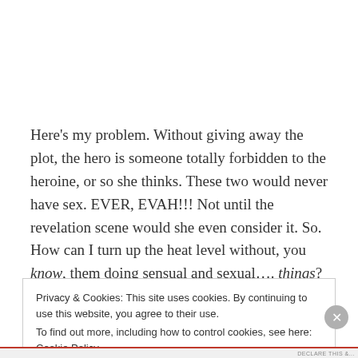Here's my problem. Without giving away the plot, the hero is someone totally forbidden to the heroine, or so she thinks. These two would never have sex. EVER, EVAH!!! Not until the revelation scene would she even consider it. So. How can I turn up the heat level without, you know, them doing sensual and sexual…. things?
Privacy & Cookies: This site uses cookies. By continuing to use this website, you agree to their use.
To find out more, including how to control cookies, see here: Cookie Policy
Close and accept